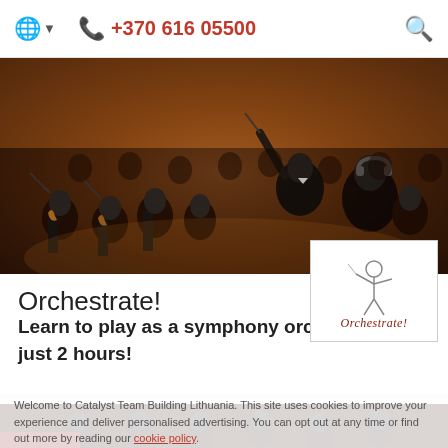🌐 ▾   📞 +370 616 05500   🔍
[Figure (photo): Orchestra musicians playing with a conductor in foreground, warm brown tones]
[Figure (logo): Orchestrate! logo with conductor illustration in white box]
Orchestrate!
Learn to play as a symphony orchestra in just 2 hours!
Welcome to Catalyst Team Building Lithuania. This site uses cookies to improve your experience and deliver personalised advertising. You can opt out at any time or find out more by reading our cookie policy.
[Figure (photo): Orchestra musicians playing in background, overlaid with cookie notice]